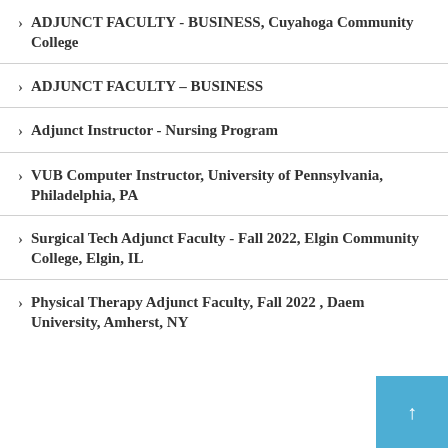ADJUNCT FACULTY - BUSINESS, Cuyahoga Community College
ADJUNCT FACULTY – BUSINESS
Adjunct Instructor - Nursing Program
VUB Computer Instructor, University of Pennsylvania, Philadelphia, PA
Surgical Tech Adjunct Faculty - Fall 2022, Elgin Community College, Elgin, IL
Physical Therapy Adjunct Faculty, Fall 2022 , Daem University, Amherst, NY